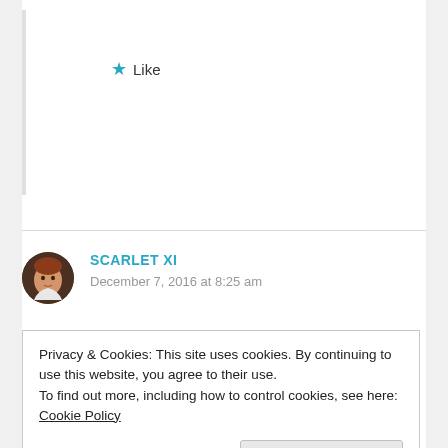[Figure (other): Like button with star icon]
SCARLET XI
December 7, 2016 at 8:25 am
Privacy & Cookies: This site uses cookies. By continuing to use this website, you agree to their use.
To find out more, including how to control cookies, see here: Cookie Policy
Close and accept